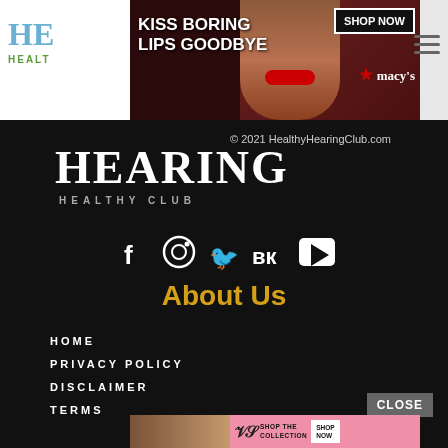[Figure (screenshot): Top navigation bar with partial logo showing 'HE' in blue serif and 'HEALT' in green, hamburger menu icon on right]
[Figure (photo): Macy's advertisement banner: 'KISS BORING LIPS GOODBYE' with woman's face and red lips, SHOP NOW button, Macy's star logo]
HEARING
HEALTHY CLUB
© 2021 HealthyHearingClub.com
[Figure (infographic): Social media icons: Facebook (f), Instagram (camera), Twitter (bird), VK, YouTube (play button)]
About Us
HOME
PRIVACY POLICY
DISCLAIMER
TERMS
[Figure (photo): Victoria's Secret advertisement: woman with curly hair, VS logo, 'SHOP THE COLLECTION', 'SHOP NOW' button, pink/red background]